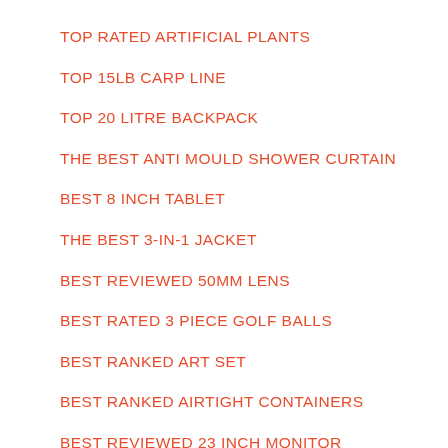TOP RATED ARTIFICIAL PLANTS
TOP 15LB CARP LINE
TOP 20 LITRE BACKPACK
THE BEST ANTI MOULD SHOWER CURTAIN
BEST 8 INCH TABLET
THE BEST 3-IN-1 JACKET
BEST REVIEWED 50MM LENS
BEST RATED 3 PIECE GOLF BALLS
BEST RANKED ART SET
BEST RANKED AIRTIGHT CONTAINERS
BEST REVIEWED 23 INCH MONITOR